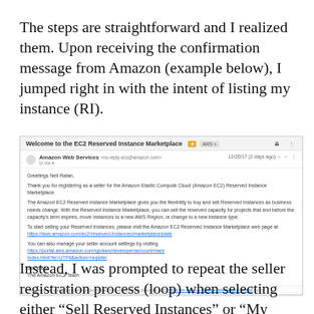The steps are straightforward and I realized them. Upon receiving the confirmation message from Amazon (example below), I jumped right in with the intent of listing my instance (RI).
[Figure (screenshot): Screenshot of a Gmail email from Amazon Web Services confirming registration as a seller on the EC2 Reserved Instance Marketplace. Subject: 'Welcome to the EC2 Reserved Instance Marketplace'. Sender: Amazon Web Services <no-reply-ecs@amazon.com>. Date: 12/20/17 (2 days ago). Body includes greeting 'Greetings Neil Ratan', thanks for registering, description of the marketplace, links to manage the seller account, and sign-off from The Amazon EC2 Team.]
Instead, I was prompted to repeat the seller registration process (loop) when selecting either "Sell Reserved Instances" or "My Listings". I was also redirected to the US East (N. Virginia) region in